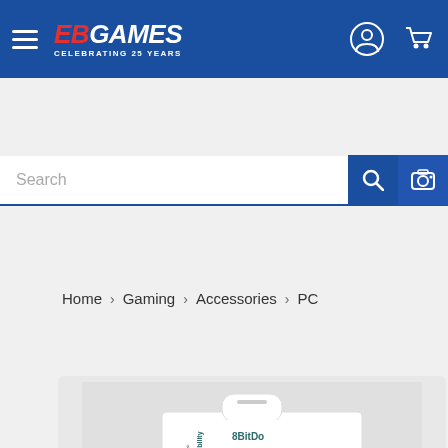[Figure (logo): EB Games logo with text 'CELEBRATING 25 YEARS' on blue header bar with hamburger menu, user icon, and cart icon]
Search
Home > Gaming > Accessories > PC
[Figure (photo): 8BitDo USB Wireless Adapter product box showing a coral/salmon colored USB dongle with 8BitDo branding, on a light gray background with left and right navigation arrows]